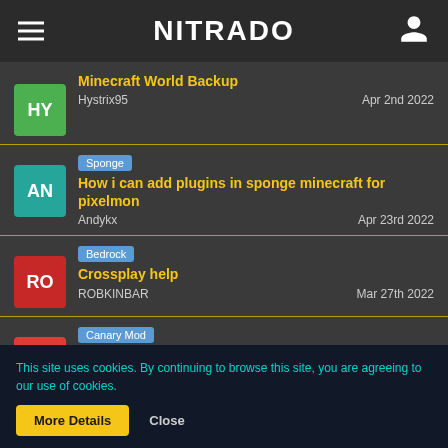NITRADO
Minecraft World Backup — Hystrix95 — Apr 2nd 2022
[Sponge] How i can add plugins in sponge minecraft for pixelmon — Andykx — Apr 23rd 2022
[Bedrock] Crossplay help — ROBKINBAR — Mar 27th 2022
[Canary Mod] View Distance NOT Changing — link2428 — Jul 26th 2022
This site uses cookies. By continuing to browse this site, you are agreeing to our use of cookies.
More Details   Close